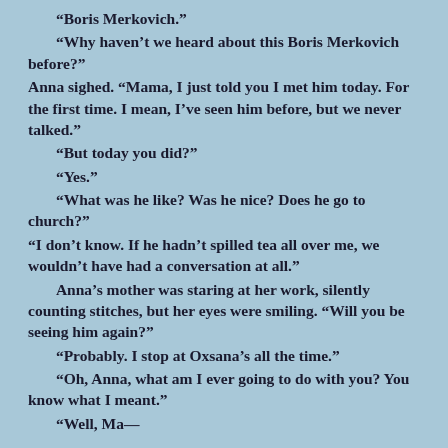“Boris Merkovich.”
“Why haven’t we heard about this Boris Merkovich before?”
Anna sighed. “Mama, I just told you I met him today. For the first time. I mean, I’ve seen him before, but we never talked.”
“But today you did?”
“Yes.”
“What was he like? Was he nice? Does he go to church?”
“I don’t know. If he hadn’t spilled tea all over me, we wouldn’t have had a conversation at all.”
Anna’s mother was staring at her work, silently counting stitches, but her eyes were smiling. “Will you be seeing him again?”
“Probably. I stop at Oxsana’s all the time.”
“Oh, Anna, what am I ever going to do with you? You know what I meant.”
“Well, Mama, it wasn’t that kind of... I mean, I haven’t...